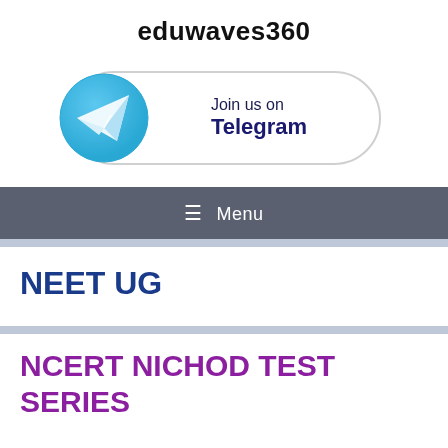eduwaves360
[Figure (infographic): Join us on Telegram button with Telegram logo (teal circle with white paper plane icon)]
☰ Menu
NEET UG
NCERT NICHOD TEST SERIES